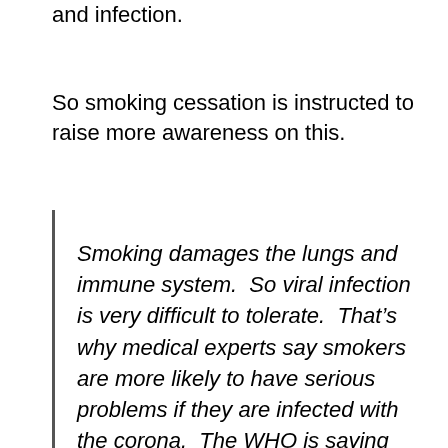and infection.
So smoking cessation is instructed to raise more awareness on this.
Smoking damages the lungs and immune system.  So viral infection is very difficult to tolerate.  That’s why medical experts say smokers are more likely to have serious problems if they are infected with the corona.  The WHO is saying the same thing.  Indicates quitting smoking.  It is campaigning